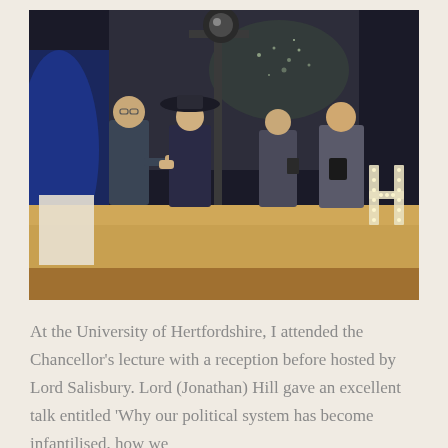[Figure (photo): Four people on a stage at the University of Hertfordshire. Two people on the left appear to be shaking hands, one wearing a wide-brimmed hat and dark outfit. Two more people stand to the right. Stage lighting, a screen, and a large illuminated letter H are visible in the background.]
At the University of Hertfordshire, I attended the Chancellor's lecture with a reception before hosted by Lord Salisbury. Lord (Jonathan) Hill gave an excellent talk entitled 'Why our political system has become infantilised, how we